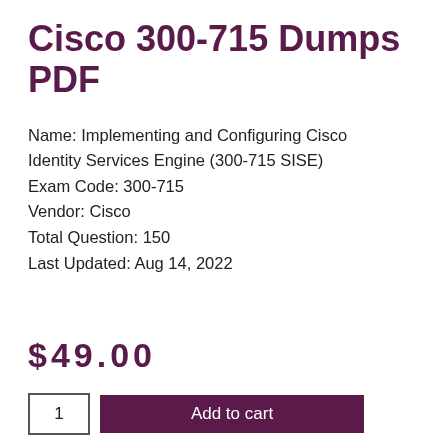Cisco 300-715 Dumps PDF
Name: Implementing and Configuring Cisco Identity Services Engine (300-715 SISE)
Exam Code: 300-715
Vendor: Cisco
Total Question: 150
Last Updated: Aug 14, 2022
$49.00
1  Add to cart